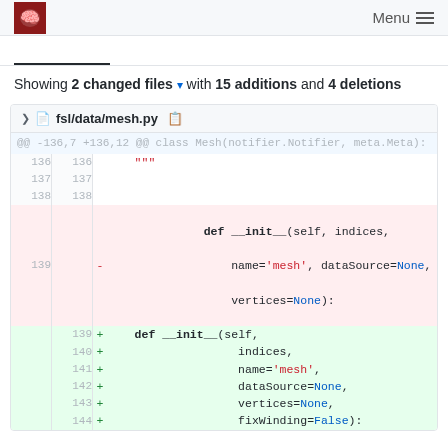Menu
Showing 2 changed files with 15 additions and 4 deletions
[Figure (screenshot): Git diff view of fsl/data/mesh.py showing removal of single-line __init__ signature and replacement with multi-line signature. Lines 136-138 unchanged, line 139 deleted (old single-line def __init__ with name='mesh', dataSource=None, vertices=None), lines 139-144 added (new multi-line def __init__ with self, indices, name='mesh', dataSource=None, vertices=None, fixWinding=False).]